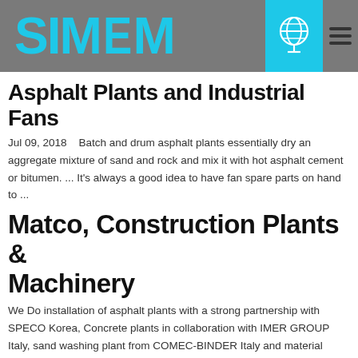[Figure (logo): SIMEM logo in cyan/blue text on grey background, with a globe icon in a cyan box and hamburger menu icon to the right]
Asphalt Plants and Industrial Fans
Jul 09, 2018    Batch and drum asphalt plants essentially dry an aggregate mixture of sand and rock and mix it with hot asphalt cement or bitumen. ... It's always a good idea to have fan spare parts on hand to ...
Matco, Construction Plants & Machinery
We Do installation of asphalt plants with a strong partnership with SPECO Korea, Concrete plants in collaboration with IMER GROUP Italy, sand washing plant from COMEC-BINDER Italy and material recycling and shredding again with COMEC-BINDER Italy. Our Combination jetting/vacuum trucks is a new comer to our product range enabling our local ...